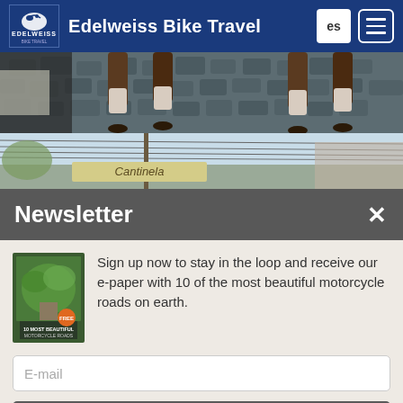Edelweiss Bike Travel
[Figure (photo): Close-up photo of a horse's legs walking on cobblestone street]
[Figure (photo): Street scene with power lines and a sign reading 'Cantinela']
Newsletter
Sign up now to stay in the loop and receive our e-paper with 10 of the most beautiful motorcycle roads on earth.
[Figure (photo): E-paper booklet cover with motorcycle road imagery]